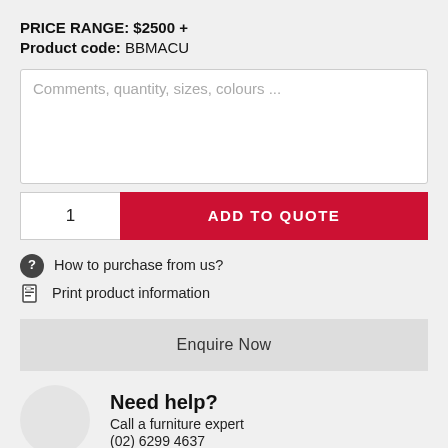PRICE RANGE: $2500 +
Product code: BBMACU
Comments, quantity, sizes, colours ...
1
ADD TO QUOTE
How to purchase from us?
Print product information
Enquire Now
Need help?
Call a furniture expert
(02) 6299 4637